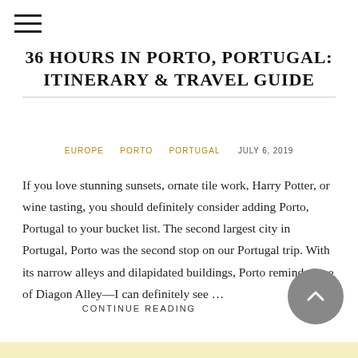☰
36 HOURS IN PORTO, PORTUGAL: ITINERARY & TRAVEL GUIDE
EUROPE   PORTO   PORTUGAL   JULY 6, 2019
If you love stunning sunsets, ornate tile work, Harry Potter, or wine tasting, you should definitely consider adding Porto, Portugal to your bucket list. The second largest city in Portugal, Porto was the second stop on our Portugal trip. With its narrow alleys and dilapidated buildings, Porto reminded me of Diagon Alley—I can definitely see …
CONTINUE READING